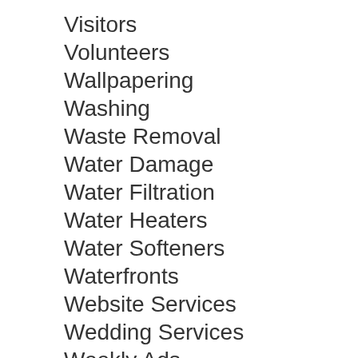Visitors
Volunteers
Wallpapering
Washing
Waste Removal
Water Damage
Water Filtration
Water Heaters
Water Softeners
Waterfronts
Website Services
Wedding Services
Weekly Ads
Weekly Sales
Weight Loss